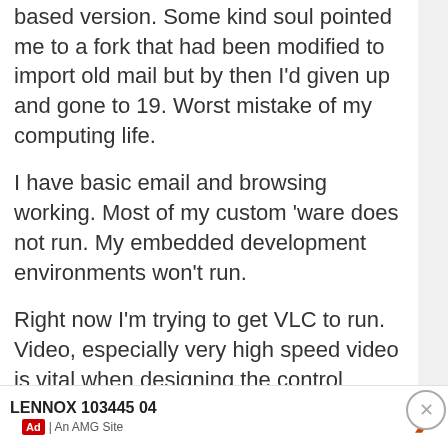based version. Some kind soul pointed me to a fork that had been modified to import old mail but by then I'd given up and gone to 19. Worst mistake of my computing life.
I have basic email and browsing working. Most of my custom 'ware does not run. My embedded development environments won't run.
Right now I'm trying to get VLC to run. Video, especially very high speed video is vital when designing the control system remotely. I haven't figured out how to view the vids other than to open the vid in avidemux and use it as a small screen viewer.
LENNOX 103445 04 | Ad | An AMG Site